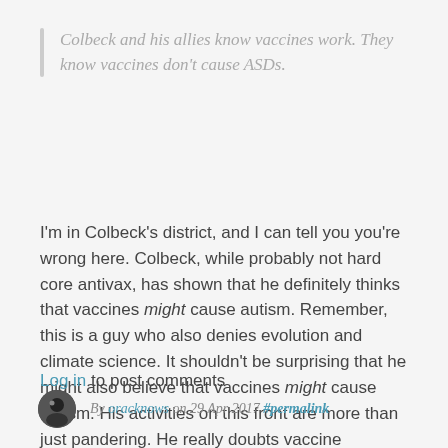Colbeck and his allies know vaccines work. They know vaccines don't cause ASDs.
I'm in Colbeck's district, and I can tell you you're wrong here. Colbeck, while probably not hard core antivax, has shown that he definitely thinks that vaccines might cause autism. Remember, this is a guy who also denies evolution and climate science. It shouldn't be surprising that he might also believe that vaccines might cause autism. His activities on this front are more than just pandering. He really doubts vaccine science.
Log in to post comments
By oracknows on 29 Apr 2017 #permalink